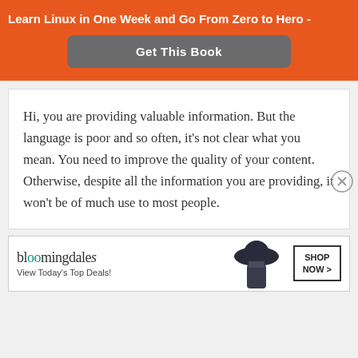Learn Linux in One Week and Go From Zero to Hero -
Get This Book
Hi, you are providing valuable information. But the language is poor and so often, it's not clear what you mean. You need to improve the quality of your content. Otherwise, despite all the information you are providing, it won't be of much use to most people.
[Figure (logo): Bloomingdale's advertisement banner with logo, tagline 'View Today's Top Deals!', woman in hat image, and SHOP NOW > button]